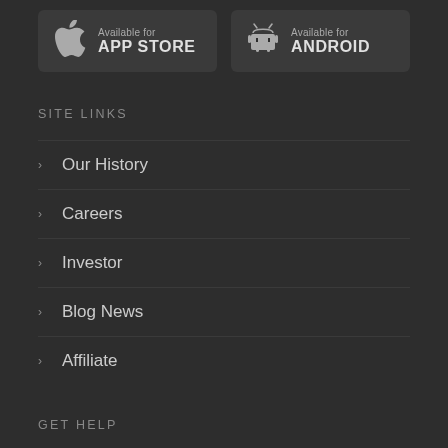[Figure (other): App store download buttons: Available for APP STORE (Apple) and Available for ANDROID]
SITE LINKS
Our History
Careers
Investor
Blog News
Affiliate
GET HELP